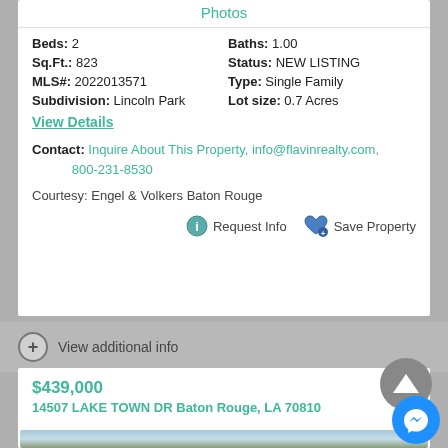Photos
Beds: 2   Baths: 1.00
Sq.Ft.: 823   Status: NEW LISTING
MLS#: 2022013571   Type: Single Family
Subdivision: Lincoln Park   Lot size: 0.7 Acres
View Details
Contact: Inquire About This Property, info@flavinrealty.com, 800-231-8530
Courtesy: Engel & Volkers Baton Rouge
Request Info   Save Property
View additional info
$439,000
14507 LAKE TOWN DR Baton Rouge, LA 70810